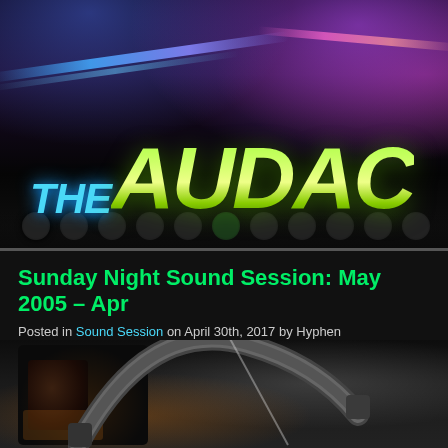[Figure (photo): The Audacity logo/banner — stylized 3D text reading 'THE AUDAC[ITY]' with 'THE' in cyan italic and 'AUDAC' in large gradient yellow-green letters, set against a dark background with colorful stage lighting effects including purple, blue and pink light beams]
Sunday Night Sound Session: May 2005 – Apr
Posted in Sound Session on April 30th, 2017 by Hyphen
[Figure (photo): Dark image showing what appears to be a person wearing headphones or a headset, with dim warm amber lighting on the left and a curved reflective surface (possibly headphones) visible on the right against a lighter background]